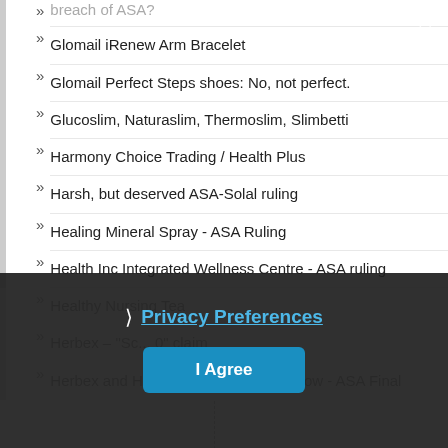breach of ASA?
Glomail iRenew Arm Bracelet
Glomail Perfect Steps shoes: No, not perfect.
Glucoslim, Naturaslim, Thermoslim, Slimbetti
Harmony Choice Trading / Health Plus
Harsh, but deserved ASA-Solal ruling
Healing Mineral Spray - ASA Ruling
Health Inc Integrated Wellness Centre - ASA ruling
Healthy Nursing Tea
Herbex – "Sc... 0" claim
Herbex and HPA's arguments ring hollow - ASA Final